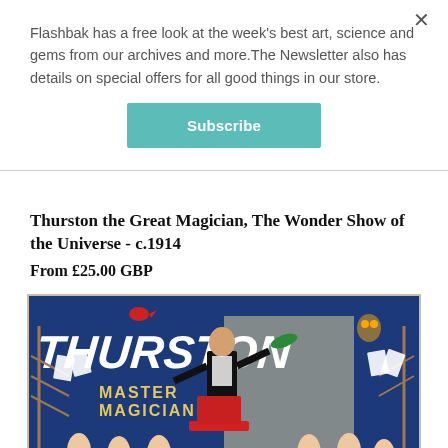Flashbak has a free look at the week's best art, science and gems from our archives and more.The Newsletter also has details on special offers for all good things in our store.
Subscribe
Thurston the Great Magician, The Wonder Show of the Universe - c.1914
From £25.00 GBP
[Figure (illustration): Vintage poster of Thurston Master Magician on a dark blue background with the text THURSTON MASTER MAGICIAN and various circus/magic show figures]